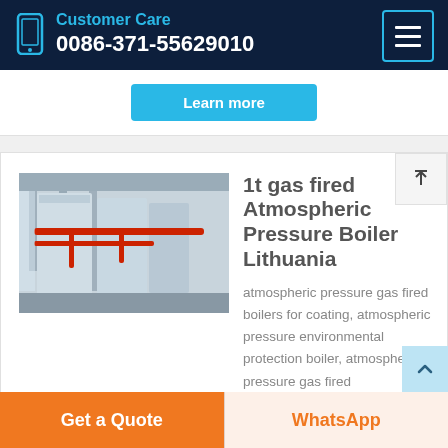Customer Care
0086-371-55629010
[Figure (screenshot): Learn more button (partially visible, teal/cyan background)]
[Figure (photo): Industrial boiler facility interior with large insulated equipment and red pipes]
1t gas fired Atmospheric Pressure Boiler Lithuania
atmospheric pressure gas fired boilers for coating, atmospheric pressure environmental protection boiler, atmospheric pressure gas fired
Get a Quote
WhatsApp